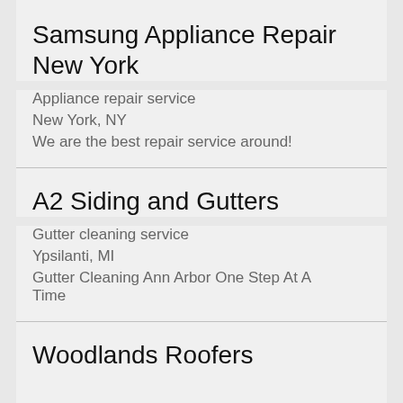Samsung Appliance Repair New York
Appliance repair service
New York, NY
We are the best repair service around!
A2 Siding and Gutters
Gutter cleaning service
Ypsilanti, MI
Gutter Cleaning Ann Arbor One Step At A Time
Woodlands Roofers